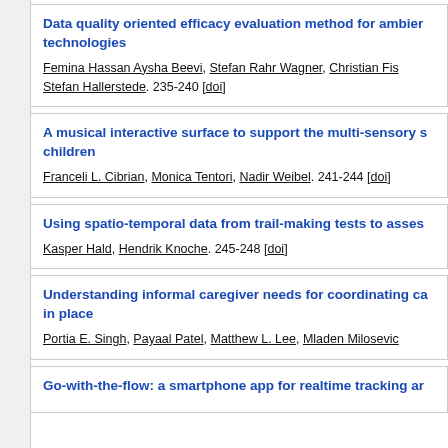Data quality oriented efficacy evaluation method for ambient technologies
Femina Hassan Aysha Beevi, Stefan Rahr Wagner, Christian Fis..., Stefan Hallerstede. 235-240 [doi]
A musical interactive surface to support the multi-sensory s... children
Franceli L. Cibrian, Monica Tentori, Nadir Weibel. 241-244 [doi]
Using spatio-temporal data from trail-making tests to assess...
Kasper Hald, Hendrik Knoche. 245-248 [doi]
Understanding informal caregiver needs for coordinating ca... in place
Portia E. Singh, Payaal Patel, Matthew L. Lee, Mladen Milosevic...
Go-with-the-flow: a smartphone app for realtime tracking ar...